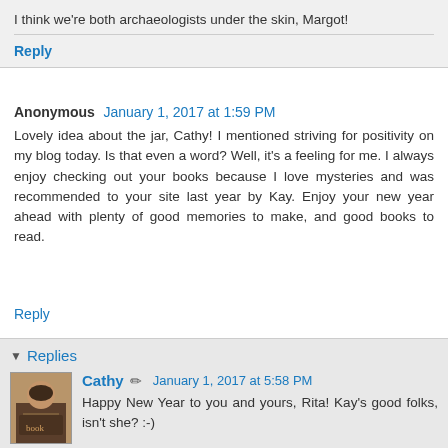I think we're both archaeologists under the skin, Margot!
Reply
Anonymous January 1, 2017 at 1:59 PM
Lovely idea about the jar, Cathy! I mentioned striving for positivity on my blog today. Is that even a word? Well, it's a feeling for me. I always enjoy checking out your books because I love mysteries and was recommended to your site last year by Kay. Enjoy your new year ahead with plenty of good memories to make, and good books to read.
Reply
Replies
Cathy January 1, 2017 at 5:58 PM
Happy New Year to you and yours, Rita! Kay's good folks, isn't she? :-)